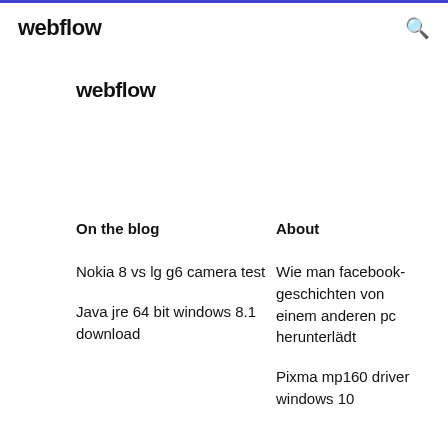webflow
webflow
On the blog
About
Nokia 8 vs lg g6 camera test
Java jre 64 bit windows 8.1 download
Wie man facebook-geschichten von einem anderen pc herunterlädt
Pixma mp160 driver windows 10